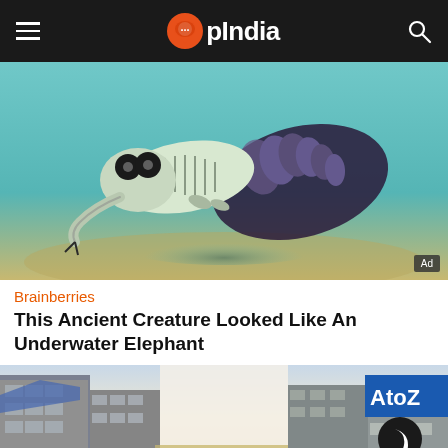OpIndia
[Figure (photo): Illustration of an ancient underwater creature resembling a trilobite or aquatic elephant with a trunk-like appendage, swimming in blue-green tinted water. An 'Ad' badge in the corner.]
Brainberries
This Ancient Creature Looked Like An Underwater Elephant
[Figure (photo): Street-level photo of a crowded urban street in India (likely Mumbai), with tall old buildings on both sides, blue tarps, billboards including 'A to Z', bright sky in the middle, and a dark mode toggle button overlay.]